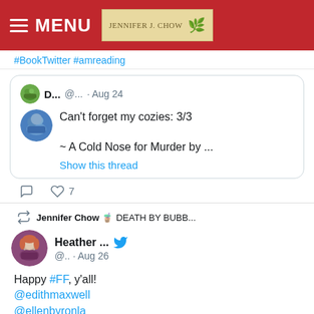MENU | Jennifer J. Chow
#BookTwitter #amreading
[Figure (screenshot): Tweet card from user D... @... · Aug 24 with avatar showing a landscape scene. Tweet text: Can't forget my cozies: 3/3

~ A Cold Nose for Murder by ... with 'Show this thread' link. Has comment and 7 likes icons below.]
[Figure (screenshot): Retweet section: Jennifer Chow 🧋 DEATH BY BUBB... retweeted. Heather ... @.. · Aug 26 with Twitter bird logo. Happy #FF, y'all! @edithmaxwell @ellenbyronla]